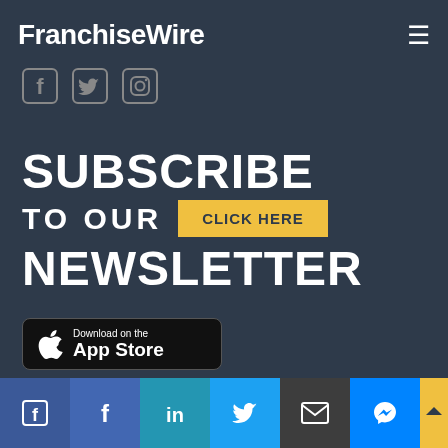FranchiseWire
[Figure (logo): FranchiseWire logo text in white bold font on dark background with hamburger menu icon top right]
[Figure (infographic): Three social media icons: Facebook, Twitter, Instagram in grey outline style]
SUBSCRIBE TO OUR CLICK HERE NEWSLETTER
[Figure (infographic): Download on the App Store badge with Apple logo]
[Figure (infographic): Bottom share bar with Facebook, Facebook f, LinkedIn, Twitter, Email, Messenger icons and scroll-to-top button]